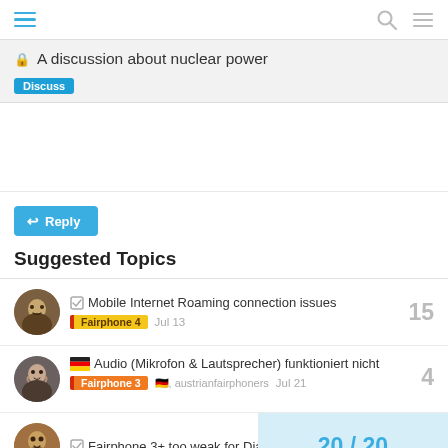Navigation bar with hamburger menu, search icon, and menu icon
A discussion about nuclear power
Discuss
Reply
Suggested Topics
Mobile Internet Roaming connection issues | Fairphone 4 | 15 | Jul 13
Audio (Mikrofon & Lautsprecher) funktioniert nicht | Fairphone 3, austrianfairphoners | 4 | Jul 21
Fairphone 3+ too weak for Diablo Im... | 20 / 20